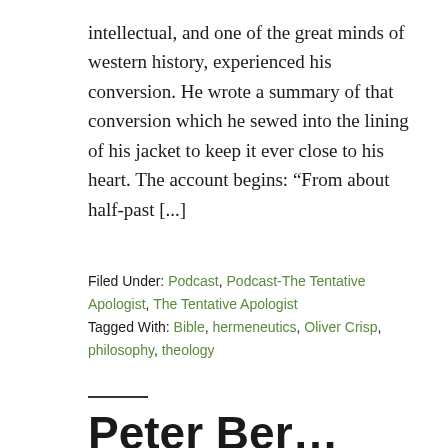intellectual, and one of the great minds of western history, experienced his conversion. He wrote a summary of that conversion which he sewed into the lining of his jacket to keep it ever close to his heart. The account begins: “From about half-past [...]
Filed Under: Podcast, Podcast-The Tentative Apologist, The Tentative Apologist
Tagged With: Bible, hermeneutics, Oliver Crisp, philosophy, theology
Peter Ber...